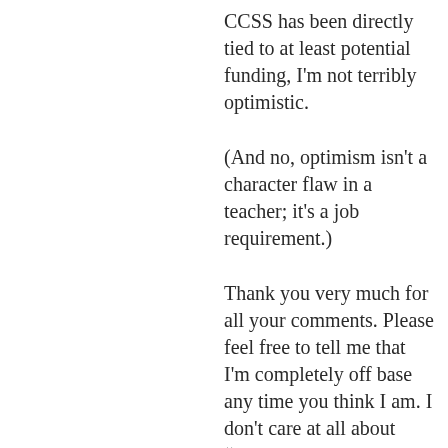CCSS has been directly tied to at least potential funding, I'm not terribly optimistic.
(And no, optimism isn't a character flaw in a teacher; it's a job requirement.)
Thank you very much for all your comments. Please feel free to tell me that I'm completely off base any time you think I am. I don't care at all about “seeming” right. I'm not running